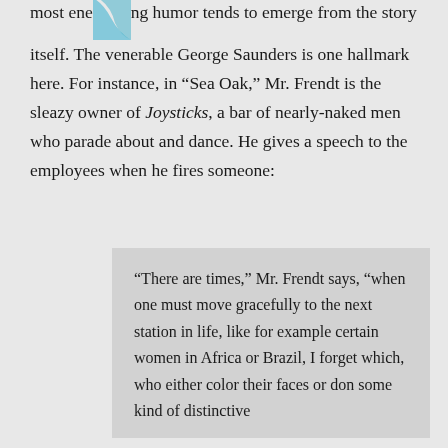most engaging humor tends to emerge from the story itself. The venerable George Saunders is one hallmark here. For instance, in “Sea Oak,” Mr. Frendt is the sleazy owner of Joysticks, a bar of nearly-naked men who parade about and dance. He gives a speech to the employees when he fires someone:
“There are times,” Mr. Frendt says, “when one must move gracefully to the next station in life, like for example certain women in Africa or Brazil, I forget which, who either color their faces or don some kind of distinctive